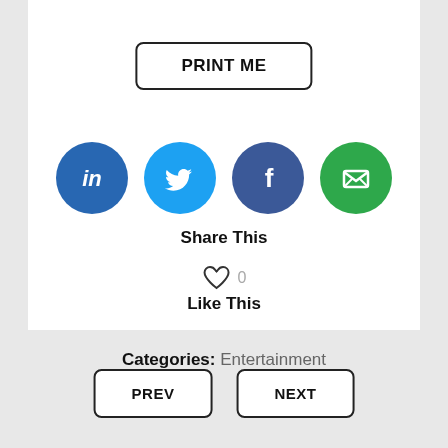PRINT ME
[Figure (infographic): Row of four social media share icons: LinkedIn (blue circle with 'in'), Twitter (light blue circle with bird), Facebook (dark blue circle with 'f'), Email (green circle with envelope)]
Share This
♡ 0
Like This
Categories: Entertainment
PREV
NEXT